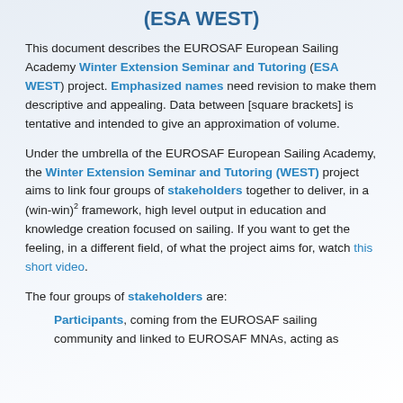(ESA WEST)
This document describes the EUROSAF European Sailing Academy Winter Extension Seminar and Tutoring (ESA WEST) project. Emphasized names need revision to make them descriptive and appealing. Data between [square brackets] is tentative and intended to give an approximation of volume.
Under the umbrella of the EUROSAF European Sailing Academy, the Winter Extension Seminar and Tutoring (WEST) project aims to link four groups of stakeholders together to deliver, in a (win-win)^2 framework, high level output in education and knowledge creation focused on sailing. If you want to get the feeling, in a different field, of what the project aims for, watch this short video.
The four groups of stakeholders are:
Participants, coming from the EUROSAF sailing community and linked to EUROSAF MNAs, acting as